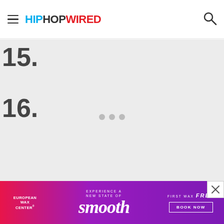HipHopWired
15.
16.
[Figure (other): Loading indicator with three gray dots centered on light gray background]
[Figure (other): Close button (X) in bottom right corner]
[Figure (other): European Wax Center advertisement banner with purple/magenta gradient. Text reads: EUROPEAN WAX CENTER, EXPERIENCE A NEW STATE OF smooth, FIRST WAX free, BOOK NOW]